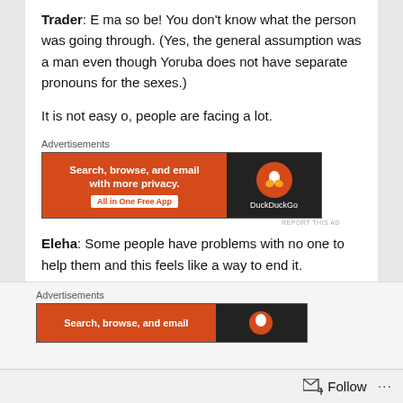Trader: E ma so be! You don't know what the person was going through. (Yes, the general assumption was a man even though Yoruba does not have separate pronouns for the sexes.)
It is not easy o, people are facing a lot.
[Figure (other): DuckDuckGo advertisement banner: 'Search, browse, and email with more privacy. All in One Free App' on orange background with DuckDuckGo logo on dark background. Labeled 'Advertisements'.]
Eleha: Some people have problems with no one to help them and this feels like a way to end it.
Conductor: Ehen! (the one that means 'you don't mean it')
[Figure (other): Second DuckDuckGo advertisement banner partially visible: 'Search, browse, and email' on orange background. Labeled 'Advertisements'.]